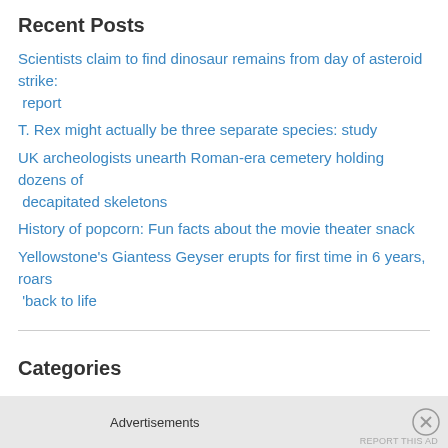Recent Posts
Scientists claim to find dinosaur remains from day of asteroid strike: report
T. Rex might actually be three separate species: study
UK archeologists unearth Roman-era cemetery holding dozens of decapitated skeletons
History of popcorn: Fun facts about the movie theater snack
Yellowstone's Giantess Geyser erupts for first time in 6 years, roars 'back to life
Categories
Animals (322)
Humor and Observations (1,937)
Uncategorized (349)
Advertisements